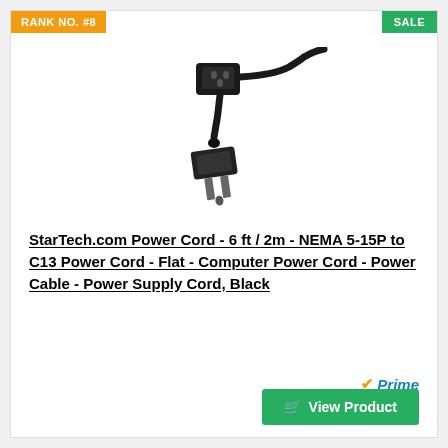RANK NO. #8
SALE
[Figure (photo): Black power cord with NEMA 5-15P flat plug on one end and C13 connector on the other end, both shown against white background]
StarTech.com Power Cord - 6 ft / 2m - NEMA 5-15P to C13 Power Cord - Flat - Computer Power Cord - Power Cable - Power Supply Cord, Black
Prime
View Product